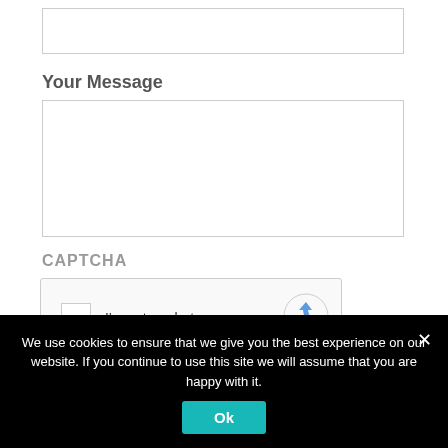[Figure (screenshot): Empty text input field with border]
Your Message
[Figure (screenshot): Empty multi-line textarea with border]
CAPTCHA
[Figure (screenshot): reCAPTCHA widget with checkbox and 'I'm not a robot' text and reCAPTCHA logo]
We use cookies to ensure that we give you the best experience on our website. If you continue to use this site we will assume that you are happy with it.
Ok